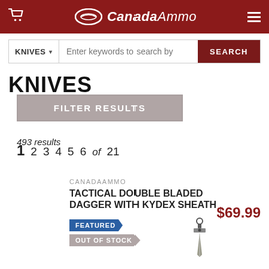CanadaAmmo
KNIVES | Enter keywords to search by | SEARCH
KNIVES
FILTER RESULTS
493 results
1 2 3 4 5 6 of 21
CANADAAMMO
TACTICAL DOUBLE BLADED DAGGER WITH KYDEX SHEATH
$69.99
FEATURED
OUT OF STOCK
[Figure (photo): Tactical double bladed dagger with Kydex sheath product image]